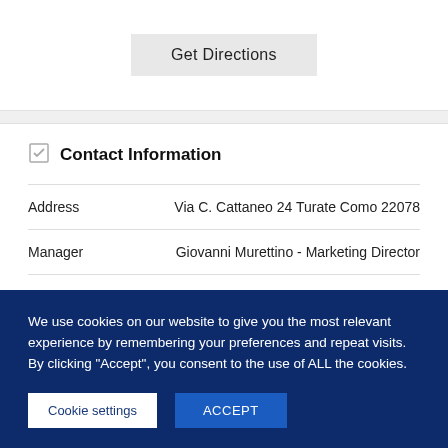Get Directions
Contact Information
| Field | Value |
| --- | --- |
| Address | Via C. Cattaneo 24 Turate Como 22078 |
| Manager | Giovanni Murettino - Marketing Director |
| Phone number | +39 02 334831 |
| Email of contact person | murettino@aerea.it |
We use cookies on our website to give you the most relevant experience by remembering your preferences and repeat visits. By clicking "Accept", you consent to the use of ALL the cookies.
Cookie settings
ACCEPT